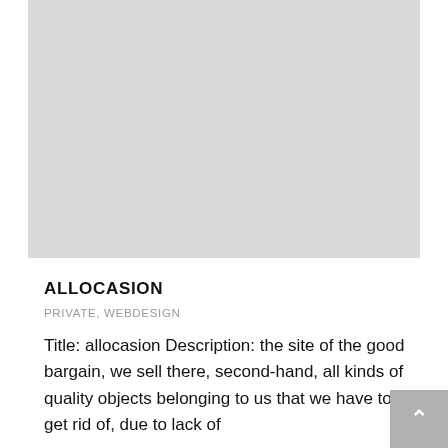[Figure (other): Large light gray placeholder image rectangle]
ALLOCASION
PRIVATE, WEBDESIGN
Title: allocasion Description: the site of the good bargain, we sell there, second-hand, all kinds of quality objects belonging to us that we have to get rid of, due to lack of